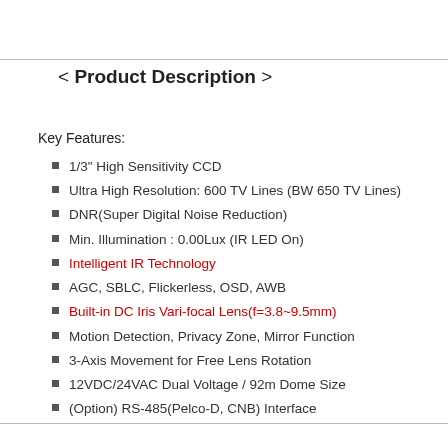< Product Description >
Key Features:
1/3" High Sensitivity CCD
Ultra High Resolution: 600 TV Lines (BW 650 TV Lines)
DNR(Super Digital Noise Reduction)
Min. Illumination : 0.00Lux (IR LED On)
Intelligent IR Technology
AGC, SBLC, Flickerless, OSD, AWB
Built-in DC Iris Vari-focal Lens(f=3.8~9.5mm)
Motion Detection, Privacy Zone, Mirror Function
3-Axis Movement for Free Lens Rotation
12VDC/24VAC Dual Voltage / 92m Dome Size
(Option) RS-485(Pelco-D, CNB) Interface